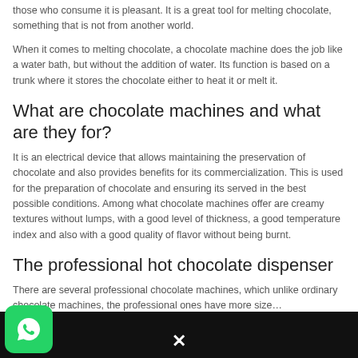those who consume it is pleasant. It is a great tool for melting chocolate, something that is not from another world.
When it comes to melting chocolate, a chocolate machine does the job like a water bath, but without the addition of water. Its function is based on a trunk where it stores the chocolate either to heat it or melt it.
What are chocolate machines and what are they for?
It is an electrical device that allows maintaining the preservation of chocolate and also provides benefits for its commercialization. This is used for the preparation of chocolate and ensuring its served in the best possible conditions. Among what chocolate machines offer are creamy textures without lumps, with a good level of thickness, a good temperature index and also with a good quality of flavor without being burnt.
The professional hot chocolate dispenser
There are several professional chocolate machines, which unlike ordinary chocolate machines, the professional ones have more size…